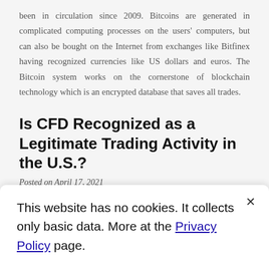been in circulation since 2009. Bitcoins are generated in complicated computing processes on the users' computers, but can also be bought on the Internet from exchanges like Bitfinex having recognized currencies like US dollars and euros. The Bitcoin system works on the cornerstone of blockchain technology which is an encrypted database that saves all trades.
Is CFD Recognized as a Legitimate Trading Activity in the U.S.?
Posted on April 17, 2021
Generally, a CFD or Contract for Difference is not one that traditional investors would participate in since its mechanics
This website has no cookies. It collects only basic data. More at the Privacy Policy page.